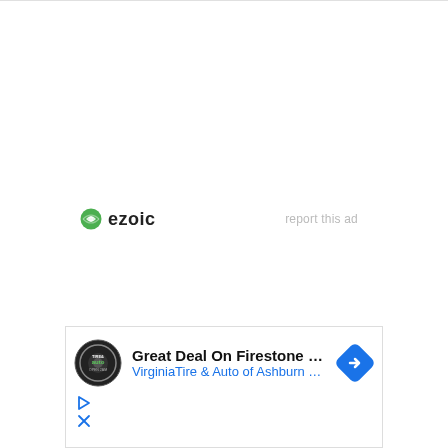[Figure (logo): Ezoic logo with green circular icon and bold 'ezoic' text, with 'report this ad' link to the right]
[Figure (screenshot): Advertisement box: Great Deal On Firestone Tires from Virginia Tire & Auto of Ashburn Fa., with tire/auto logo on left and blue navigation arrow icon on right, play and close icons at bottom left]